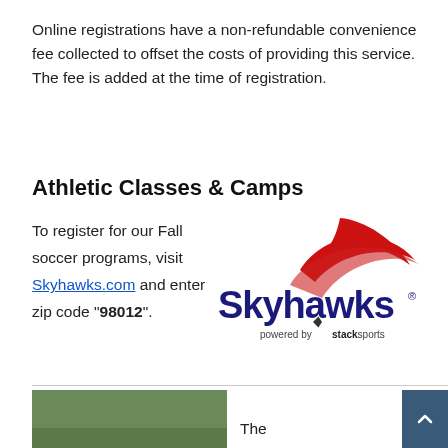Online registrations have a non-refundable convenience fee collected to offset the costs of providing this service. The fee is added at the time of registration.
Athletic Classes & Camps
To register for our Fall soccer programs, visit Skyhawks.com and enter zip code "98012".
[Figure (logo): Skyhawks logo powered by Stack Sports — dark navy text 'Skyhawks' with a red swoosh bird logo above, smaller text 'powered by stack sports' below]
The